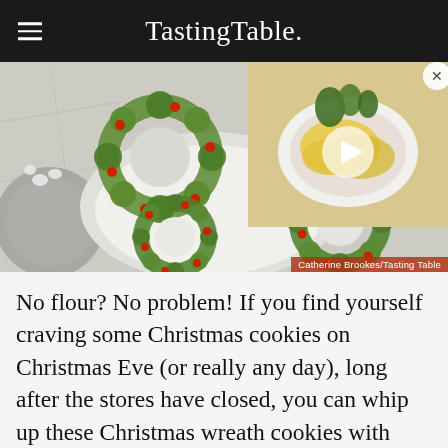Tasting Table.
[Figure (photo): Christmas wreath-shaped rice crispy treat cookies decorated with red candy berries on a marble surface, with a video overlay thumbnail showing scrambled eggs with herbs on a plate]
Catherine Brookes/Tasting Table
No flour? No problem! If you find yourself craving some Christmas cookies on Christmas Eve (or really any day), long after the stores have closed, you can whip up these Christmas wreath cookies with nary a cup of flour, cup of sugar, or even an egg in sight. Butter, miniature marshmallows, and cornflakes are